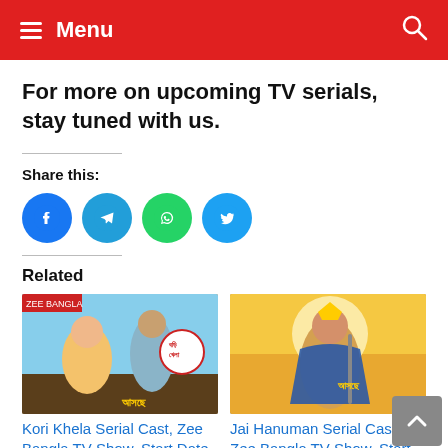Menu
For more on upcoming TV serials, stay tuned with us.
Share this:
[Figure (other): Social share buttons: Facebook (blue circle with f), Telegram (blue circle with paper plane), WhatsApp (green circle with phone), Twitter (light blue circle with bird)]
Related
[Figure (photo): Kori Khela serial promotional image showing a couple with Bengali text]
Kori Khela Serial Cast, Zee Bangla TV Show, Start Date, Timing,
[Figure (photo): Jai Hanuman serial promotional image showing Hanuman deity with Bengali text]
Jai Hanuman Serial Cast, Zee Bangla TV Show, Start Date, Timing, Wiki